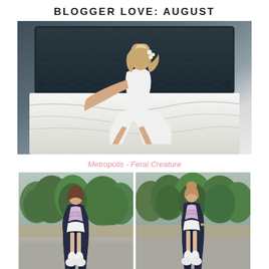BLOGGER LOVE: AUGUST
[Figure (photo): Fashion blogger photo: young woman with long blonde hair wearing white halter dress, posing on white bed with dark textured headboard]
Metropolis - Feral Creature
[Figure (photo): Two side-by-side fashion blogger photos outdoors: woman wearing navy long coat over lavender ruffled top and white shorts with white sneakers, green trees in background]